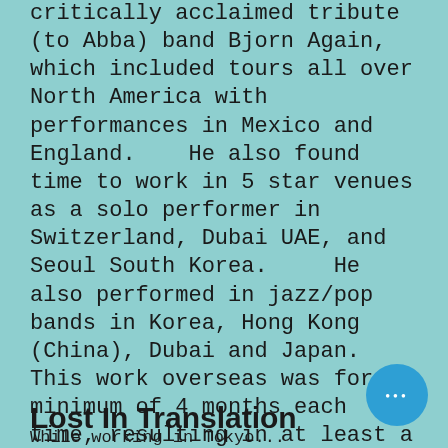critically acclaimed tribute (to Abba) band Bjorn Again, which included tours all over North America with performances in Mexico and England.   He also found time to work in 5 star venues as a solo performer in Switzerland, Dubai UAE, and Seoul South Korea.    He also performed in jazz/pop bands in Korea, Hong Kong (China), Dubai and Japan.   This work overseas was for a minimum of 4 months each time, resulting in at least a year on Hong Kong (Hyatt) and two long term engagements at the Park Hyatt in Seoul S.Korea.
Lost In Translation
While working in Tokyo...